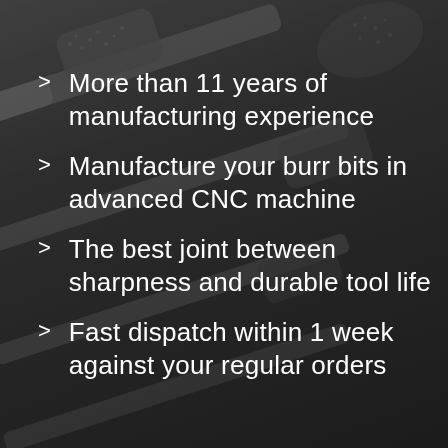[Figure (photo): Background photo of multiple carbide burr bits/rotary tool bits arranged diagonally on a dark surface, showing textured cutting heads in various shapes.]
More than 11 years of manufacturing experience
Manufacture your burr bits in advanced CNC machine
The best joint between sharpness and durable tool life
Fast dispatch within 1 week against your regular orders